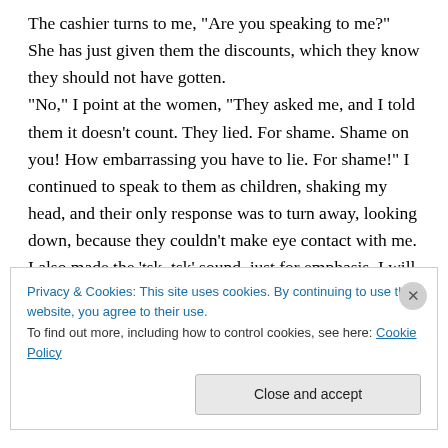The cashier turns to me, "Are you speaking to me?" She has just given them the discounts, which they know they should not have gotten.
"No," I point at the women, "They asked me, and I told them it doesn't count. They lied. For shame. Shame on you! How embarrassing you have to lie. For shame!" I continued to speak to them as children, shaking my head, and their only response was to turn away, looking down, because they couldn't make eye contact with me. I also made the 'tsk, tsk' sound, just for emphasis. I will explain all of this later. I kept saying "Shame, for shame!" as they
Privacy & Cookies: This site uses cookies. By continuing to use this website, you agree to their use.
To find out more, including how to control cookies, see here: Cookie Policy